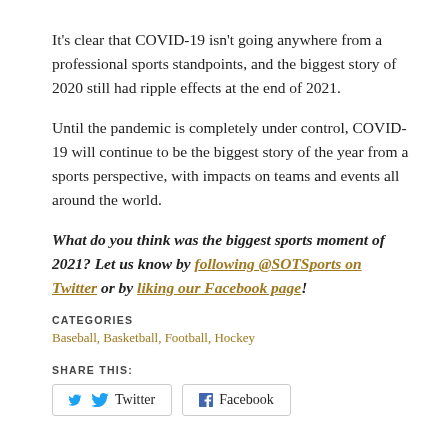It's clear that COVID-19 isn't going anywhere from a professional sports standpoints, and the biggest story of 2020 still had ripple effects at the end of 2021.
Until the pandemic is completely under control, COVID-19 will continue to be the biggest story of the year from a sports perspective, with impacts on teams and events all around the world.
What do you think was the biggest sports moment of 2021? Let us know by following @SOTSports on Twitter or by liking our Facebook page!
CATEGORIES
Baseball, Basketball, Football, Hockey
SHARE THIS:
Twitter  Facebook